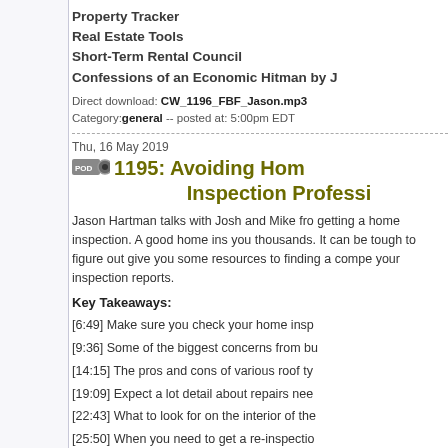Property Tracker
Real Estate Tools
Short-Term Rental Council
Confessions of an Economic Hitman by J
Direct download: CW_1196_FBF_Jason.mp3
Category: general -- posted at: 5:00pm EDT
Thu, 16 May 2019
1195: Avoiding Hom... Inspection Professi...
Jason Hartman talks with Josh and Mike fro... getting a home inspection. A good home ins... you thousands. It can be tough to figure out... give you some resources to finding a compe... your inspection reports.
Key Takeaways:
[6:49] Make sure you check your home insp...
[9:36] Some of the biggest concerns from bu...
[14:15] The pros and cons of various roof ty...
[19:09] Expect a lot detail about repairs nee...
[22:43] What to look for on the interior of the...
[25:50] When you need to get a re-inspectio...